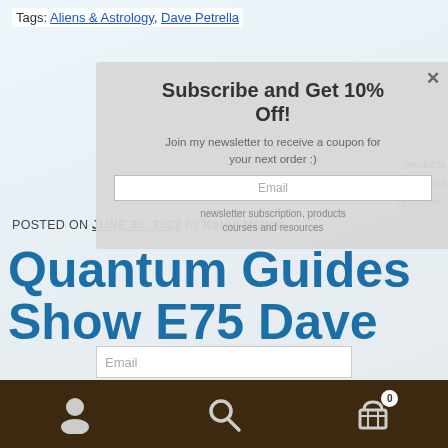Tags: Aliens & Astrology, Dave Petrella
[Figure (screenshot): Subscribe and Get 10% Off! modal popup overlay on a webpage. Contains newsletter signup text and email input field.]
POSTED ON JUNE 30, 2022 by Karen Holton
Quantum Guides Show E75 Dave
Note: all products are sanitized prior to shipping in response to CoVid19. Receive a free Orgone Generator with every order placed over $100.00 until September 30th, 2022. Free gift is randomly selected and automatically added to your order.
Dismiss
[Figure (screenshot): Bottom navigation bar with user icon, search icon, and cart icon with badge showing 0]